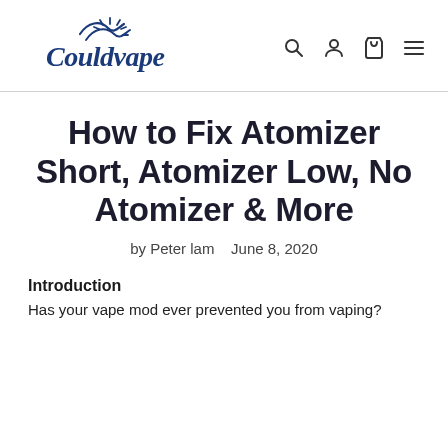[Figure (logo): Couldvape logo in dark blue cursive/script font with decorative wave and sunburst graphic above the text]
[Figure (infographic): Navigation icons: search (magnifying glass), account (person silhouette), cart (shopping bag), menu (three horizontal lines)]
How to Fix Atomizer Short, Atomizer Low, No Atomizer & More
by Peter lam   June 8, 2020
Introduction
Has your vape mod ever prevented you from vaping?